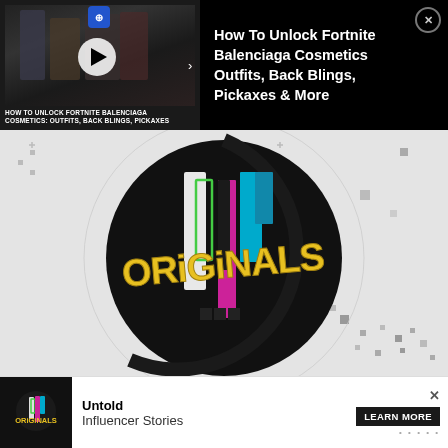[Figure (screenshot): Top advertisement banner with video thumbnail on left showing Fortnite Balenciaga characters with play button overlay and text 'HOW TO UNLOCK FORTNITE BALENCIAGA COSMETICS: OUTFITS, BACK BLINGS, PICKAXES' on black background, and article title on right: 'How To Unlock Fortnite Balenciaga Cosmetics Outfits, Back Blings, Pickaxes & More' with close X button]
[Figure (screenshot): TikTok Originals logo graphic - circular dark badge with colorful bar chart elements (green, pink, cyan, white, dark) in center, 'ORIGINALS' text in yellow graffiti-style font, surrounded by decorative geometric dots and squares on light gray background]
Untold
[Figure (screenshot): Bottom sticky advertisement banner with TikTok Originals logo on left, 'Untold Influencer Stories' text in center, and 'LEARN MORE' button with close X on right]